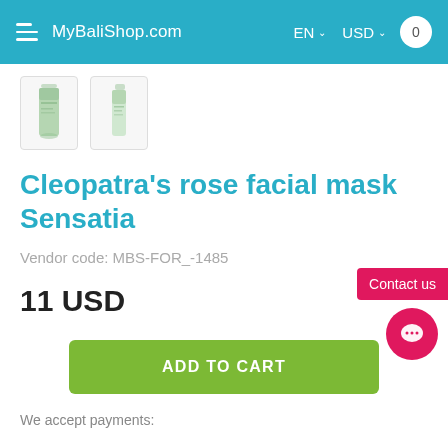MyBaliShop.com  EN  USD  0
[Figure (photo): Two small product thumbnail images of Cleopatra's rose facial mask Sensatia — a tube and a spray bottle, greenish packaging]
Cleopatra's rose facial mask Sensatia
Vendor code: MBS-FOR_-1485
11 USD
ADD TO CART
Contact us
We accept payments: